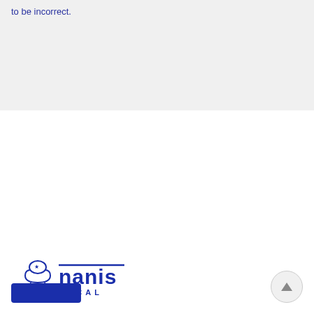to be incorrect.
[Figure (logo): Nanis Local logo with chef icon and dark blue text]
Whether you are looking to buy your daily sandwich or arrange meetings, lunches or parties, Nanis have been catering in London since 1972.
Nanis Cafe
134 Great Portland Street, London W1W 6PX
Phone
0207 637
1394